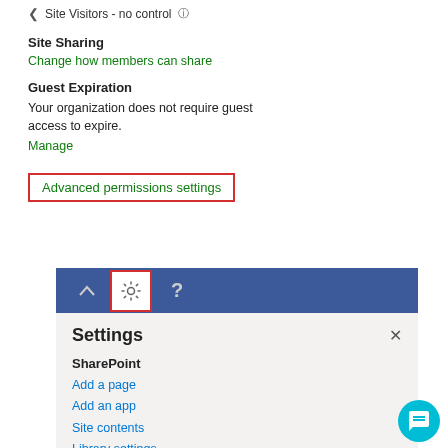Site Visitors - no control
Site Sharing
Change how members can share
Guest Expiration
Your organization does not require guest access to expire.
Manage
[Figure (screenshot): Advanced permissions settings link inside a red border box, highlighted for user attention]
[Figure (screenshot): SharePoint site toolbar showing navigation icons with a gear/settings icon highlighted by a red border box. Below is a Settings panel showing SharePoint links: Add a page, Add an app, Site contents, Library settings, Restore this library, Site information.]